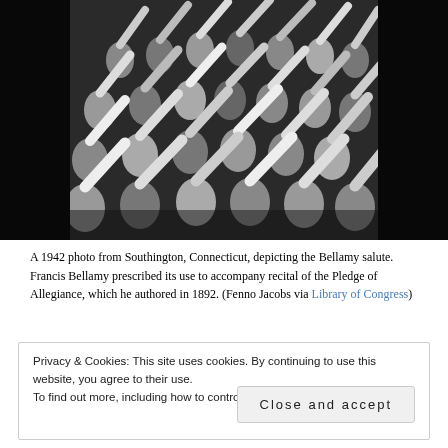[Figure (photo): A black and white 1942 photograph showing a large group of children and people extending their right arms outward and upward in the Bellamy salute, taken in Southington, Connecticut.]
A 1942 photo from Southington, Connecticut, depicting the Bellamy salute. Francis Bellamy prescribed its use to accompany recital of the Pledge of Allegiance, which he authored in 1892. (Fenno Jacobs via Library of Congress)
Privacy & Cookies: This site uses cookies. By continuing to use this website, you agree to their use.
To find out more, including how to control cookies, see here: Cookie Policy
Close and accept